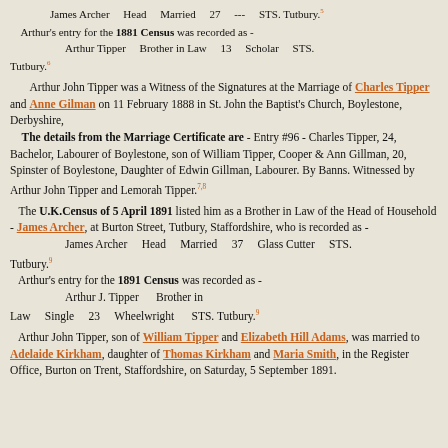James Archer   Head   Married   27   ---   STS. Tutbury.[5]
Arthur's entry for the 1881 Census was recorded as -
        Arthur Tipper   Brother in Law   13   Scholar   STS. Tutbury.[6]
Arthur John Tipper was a Witness of the Signatures at the Marriage of Charles Tipper and Anne Gilman on 11 February 1888 in St. John the Baptist's Church, Boylestone, Derbyshire,
The details from the Marriage Certificate are - Entry #96 - Charles Tipper, 24, Bachelor, Labourer of Boylestone, son of William Tipper, Cooper & Ann Gillman, 20, Spinster of Boylestone, Daughter of Edwin Gillman, Labourer. By Banns. Witnessed by Arthur John Tipper and Lemorah Tipper.[7,8]
The U.K.Census of 5 April 1891 listed him as a Brother in Law of the Head of Household - James Archer, at Burton Street, Tutbury, Staffordshire, who is recorded as -
James Archer   Head   Married   37   Glass Cutter   STS. Tutbury.[9]
Arthur's entry for the 1891 Census was recorded as -
        Arthur J. Tipper   Brother in Law   Single   23   Wheelwright   STS. Tutbury.[9]
Arthur John Tipper, son of William Tipper and Elizabeth Hill Adams, was married to Adelaide Kirkham, daughter of Thomas Kirkham and Maria Smith, in the Register Office, Burton on Trent, Staffordshire, on Saturday, 5 September 1891.